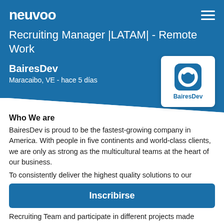neuvoo
Recruiting Manager |LATAM| - Remote Work
BairesDev
Maracaibo, VE - hace 5 días
[Figure (logo): BairesDev company logo — stylized blue rounded square icon with a circle/leaf cutout, text 'BairesDev' below]
Who We are
BairesDev is proud to be the fastest-growing company in America. With people in five continents and world-class clients, we are only as strong as the multicultural teams at the heart of our business.
To consistently deliver the highest quality solutions to our
Inscribirse
Recruiting Team and participate in different projects made